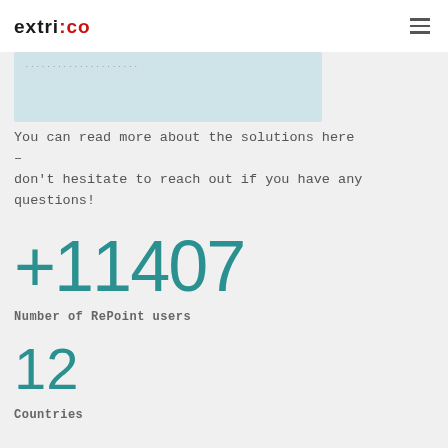extri:co
You can read more about the solutions here – don't hesitate to reach out if you have any questions!
+11407
Number of RePoint users
12
Countries